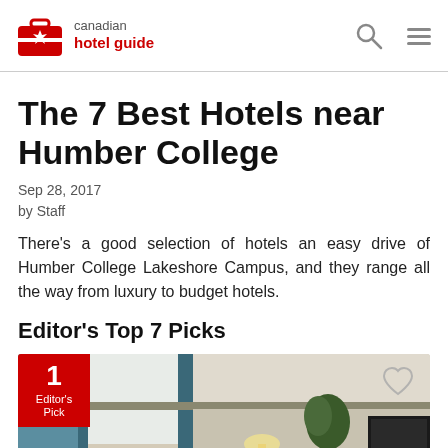canadian hotel guide
The 7 Best Hotels near Humber College
Sep 28, 2017
by Staff
There's a good selection of hotels an easy drive of Humber College Lakeshore Campus, and they range all the way from luxury to budget hotels.
Editor's Top 7 Picks
[Figure (photo): Hotel room interior with teal curtains, a plant, and a TV. Overlaid with a red '1 Editor's Pick' badge in the top-left and a heart icon in the top-right.]